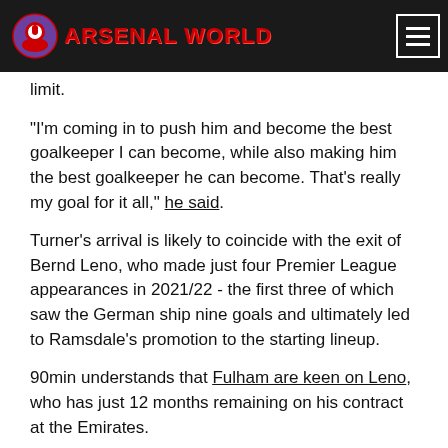ARSENAL WORLD
limit.
"I'm coming in to push him and become the best goalkeeper I can become, while also making him the best goalkeeper he can become. That's really my goal for it all," he said.
Turner's arrival is likely to coincide with the exit of Bernd Leno, who made just four Premier League appearances in 2021/22 - the first three of which saw the German ship nine goals and ultimately led to Ramsdale's promotion to the starting lineup.
90min understands that Fulham are keen on Leno, who has just 12 months remaining on his contract at the Emirates.
Source: 90min